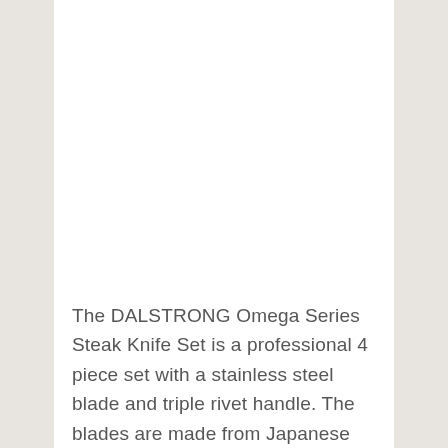The DALSTRONG Omega Series Steak Knife Set is a professional 4 piece set with a stainless steel blade and triple rivet handle. The blades are made from Japanese